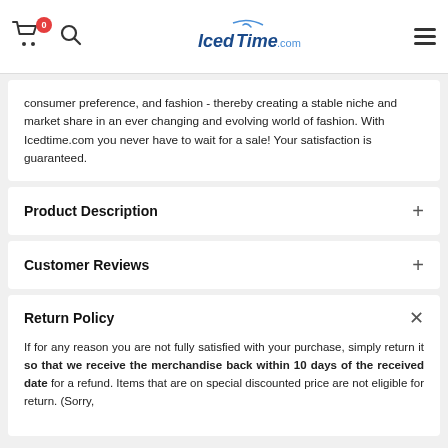IcedTime.com — navigation bar with cart (0), search, logo, and hamburger menu
consumer preference, and fashion - thereby creating a stable niche and market share in an ever changing and evolving world of fashion. With Icedtime.com you never have to wait for a sale! Your satisfaction is guaranteed.
Product Description
Customer Reviews
Return Policy
If for any reason you are not fully satisfied with your purchase, simply return it so that we receive the merchandise back within 10 days of the received date for a refund. Items that are on special discounted price are not eligible for return. (Sorry,